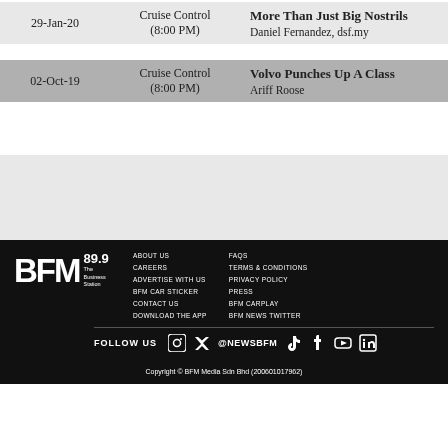| Date | Show | Episode |
| --- | --- | --- |
| 29-Jan-20 | Cruise Control (8:00 PM) | More Than Just Big Nostrils
Daniel Fernandez, dsf.my |
| 02-Oct-19 | Cruise Control (8:00 PM) | Volvo Punches Up A Class
Ariff Roose |
BFM 89.9 The Business Station | ABOUT US | CAREERS | ADVERTISE WITH US | BFM CAR STICKER | CONTACT US | DOWNLOAD THE APP | FAQs | TERMS & CONDITIONS | PRIVACY POLICY | PRESS | BFM CARPLAY | BFM NEWS TWITTER | FOLLOW US | @NEWSBFM | Copyright © BFM Media Sdn Bhd (200601017962)